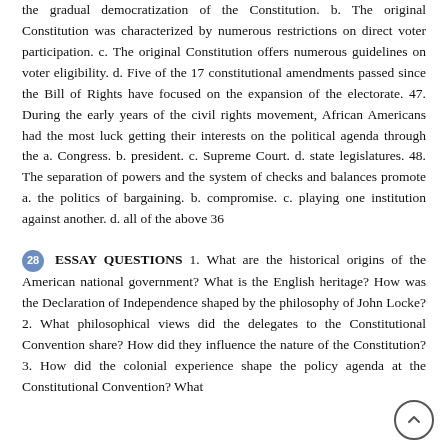the gradual democratization of the Constitution. b. The original Constitution was characterized by numerous restrictions on direct voter participation. c. The original Constitution offers numerous guidelines on voter eligibility. d. Five of the 17 constitutional amendments passed since the Bill of Rights have focused on the expansion of the electorate. 47. During the early years of the civil rights movement, African Americans had the most luck getting their interests on the political agenda through the a. Congress. b. president. c. Supreme Court. d. state legislatures. 48. The separation of powers and the system of checks and balances promote a. the politics of bargaining. b. compromise. c. playing one institution against another. d. all of the above 36
28 ESSAY QUESTIONS 1. What are the historical origins of the American national government? What is the English heritage? How was the Declaration of Independence shaped by the philosophy of John Locke? 2. What philosophical views did the delegates to the Constitutional Convention share? How did they influence the nature of the Constitution? 3. How did the colonial experience shape the policy agenda at the Constitutional Convention? What